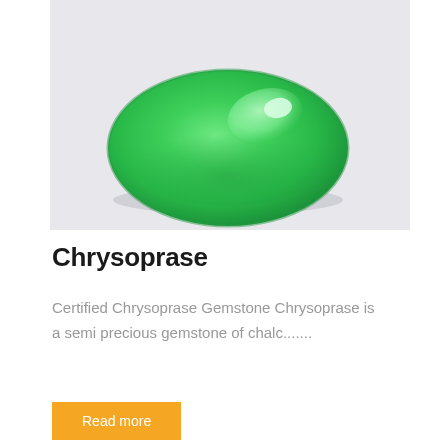[Figure (photo): A green chrysoprase gemstone cabochon, oval shaped, bright translucent green color with a glossy surface and highlight reflection, photographed on a light gray/white background.]
Chrysoprase
Certified Chrysoprase Gemstone Chrysoprase is a semi precious gemstone of chalc.......
Read more